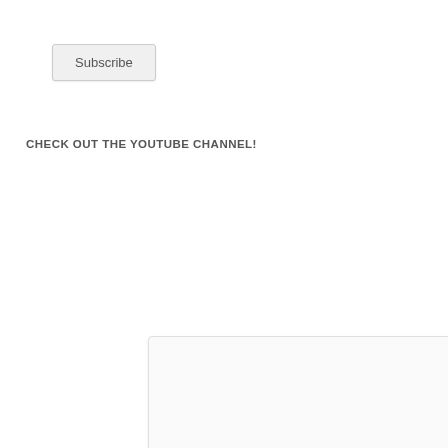[Figure (other): Subscribe button UI element with light gray background and border]
CHECK OUT THE YOUTUBE CHANNEL!
[Figure (other): Embedded YouTube video player placeholder — white/light gray rectangle with thin border and rounded corners]